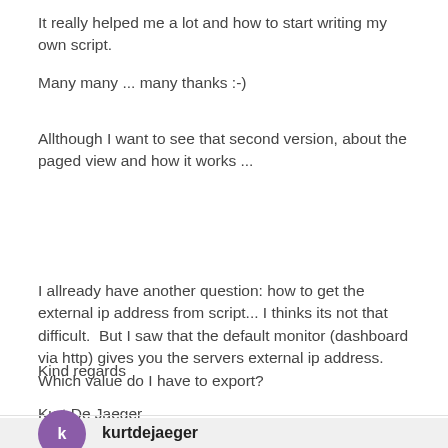It really helped me a lot and how to start writing my own script.
Many many ... many thanks :-)
Allthough I want to see that second version, about the paged view and how it works ...
I allready have another question: how to get the external ip address from script... I thinks its not that difficult.  But I saw that the default monitor (dashboard via http) gives you the servers external ip address.  Which value do I have to export?
Kind regards
Kurt De Jaeger
kurtdejaeger